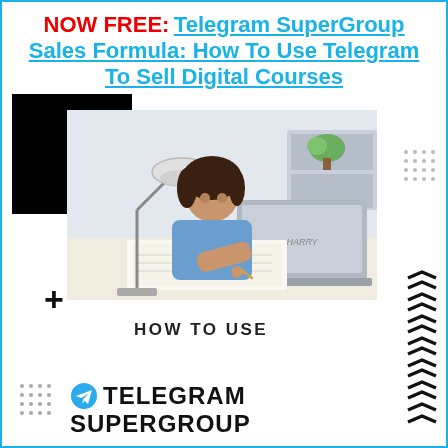NOW FREE: Telegram SuperGroup Sales Formula: How To Use Telegram To Sell Digital Courses
[Figure (photo): Woman in blue shirt writing in notebook at desk with laptop and lamp, home office setting. Decorative black rectangle overlay top-left, dot grid top-right, plus sign bottom-left, chevron arrows bottom-right.]
HOW TO USE
TELEGRAM SUPERGROUP